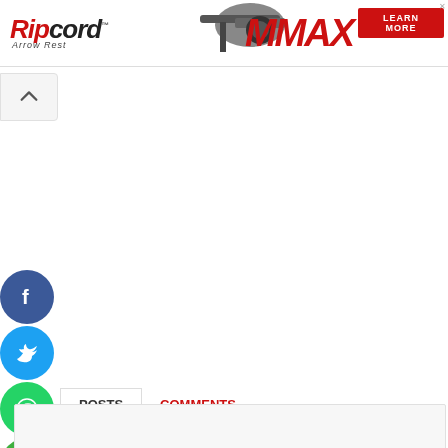[Figure (screenshot): Ripcord Arrow Rest MAX advertisement banner with logo, product image, and LEARN MORE button]
[Figure (screenshot): Social media share buttons: Facebook, Twitter, WhatsApp, Email]
POSTS
COMMENTS